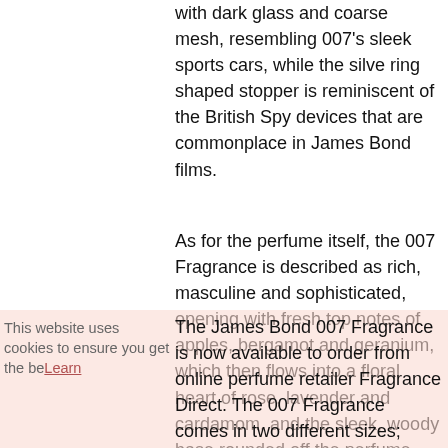with dark glass and coarse mesh, resembling 007's sleek sports cars, while the silve ring shaped stopper is reminiscent of the British Spy devices that are commonplace in James Bond films.
As for the perfume itself, the 007 Fragrance is described as rich, masculine and sophisticated, opening with fresh top notes of apples, bergamot and geranium, which then flows into a floral heart of rose, lavender and cardamom, and the sleek, woody base rounded off the perfume with notes of vetiver, sandalwood, patchouli and oakmoss.
This website uses cookies to ensure you get the be... Learn...
The James Bond 007 Fragrance is now available to order from online perfume retailer Fragrance Direct. The 007 Fragrance comes in two different sizes; 30ml (£15.99) and 75ml (£25.99). The 75ml bottle of the 007 Fragrance is also available with a 007 branded cocktail mixer as an exclusive free gift, for the ultimate James Bond experience.